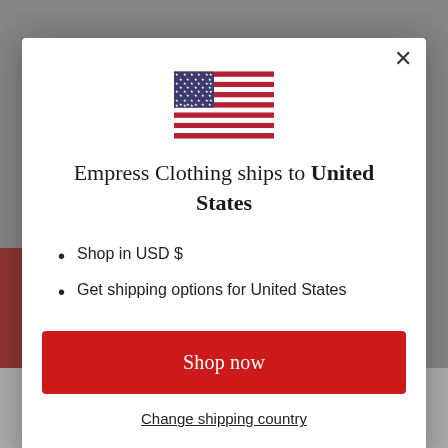[Figure (screenshot): Website screenshot showing a modal dialog for country/currency selection on Empress Clothing e-commerce site. Background shows a product page with a red section.]
Empress Clothing ships to United States
Shop in USD $
Get shipping options for United States
Shop now
Change shipping country